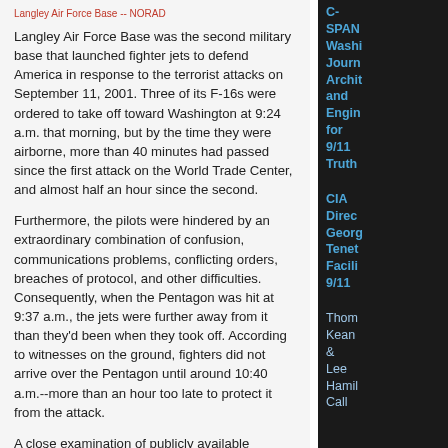Langley Air Force Base -- NORAD
Langley Air Force Base was the second military base that launched fighter jets to defend America in response to the terrorist attacks on September 11, 2001. Three of its F-16s were ordered to take off toward Washington at 9:24 a.m. that morning, but by the time they were airborne, more than 40 minutes had passed since the first attack on the World Trade Center, and almost half an hour since the second.
Furthermore, the pilots were hindered by an extraordinary combination of confusion, communications problems, conflicting orders, breaches of protocol, and other difficulties. Consequently, when the Pentagon was hit at 9:37 a.m., the jets were further away from it than they'd been when they took off. According to witnesses on the ground, fighters did not arrive over the Pentagon until around 10:40 a.m.--more than an hour too late to protect it from the attack.
A close examination of publicly available accounts raises the possibility that deliberate attempts were made to sabotage the ability of the Langley jets to respond to the 9/11 attacks, thereby paralyzing normal, well-practiced procedures. In this article, I focus on three particular aspects of the jets' response.
C-SPAN Washington Journal Architecture and Engineering for 9/11 Truth
CIA Director George Tenet Facilitating 9/11
Thomas Kean & Lee Hamilton Called